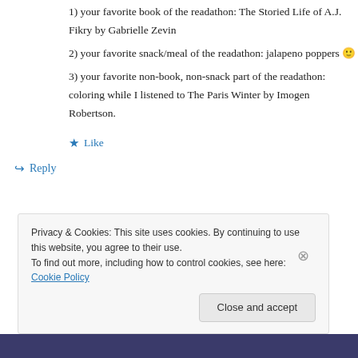1) your favorite book of the readathon: The Storied Life of A.J. Fikry by Gabrielle Zevin
2) your favorite snack/meal of the readathon: jalapeno poppers 🙂
3) your favorite non-book, non-snack part of the readathon: coloring while I listened to The Paris Winter by Imogen Robertson.
★ Like
↪ Reply
Privacy & Cookies: This site uses cookies. By continuing to use this website, you agree to their use.
To find out more, including how to control cookies, see here: Cookie Policy